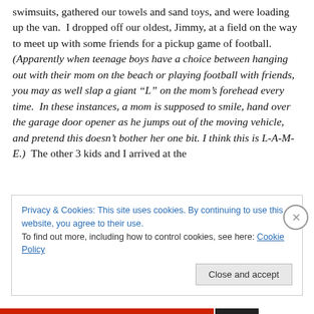swimsuits, gathered our towels and sand toys, and were loading up the van.  I dropped off our oldest, Jimmy, at a field on the way to meet up with some friends for a pickup game of football.  (Apparently when teenage boys have a choice between hanging out with their mom on the beach or playing football with friends, you may as well slap a giant “L” on the mom’s forehead every time.  In these instances, a mom is supposed to smile, hand over the garage door opener as he jumps out of the moving vehicle, and pretend this doesn’t bother her one bit. I think this is L-A-M-E.)  The other 3 kids and I arrived at the
Privacy & Cookies: This site uses cookies. By continuing to use this website, you agree to their use.
To find out more, including how to control cookies, see here: Cookie Policy